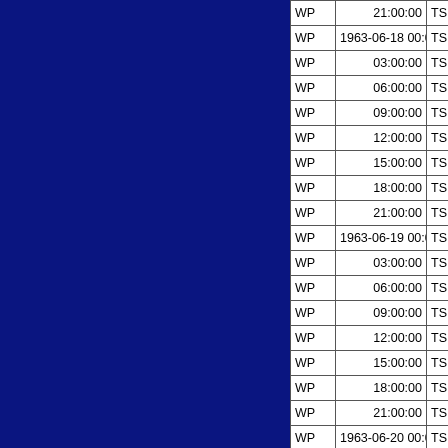| Type | Datetime | TS | Value |
| --- | --- | --- | --- |
| WP | 21:00:00 | TS | 24.2 |
| WP | 1963-06-18 00:00:00 | TS | 24.8 |
| WP | 03:00:00 | TS | 25.3 |
| WP | 06:00:00 | TS | 25.8 |
| WP | 09:00:00 | TS | 26.3 |
| WP | 12:00:00 | TS | 26.8 |
| WP | 15:00:00 | TS | 27.4 |
| WP | 18:00:00 | TS | 28.0 |
| WP | 21:00:00 | TS | 28.6 |
| WP | 1963-06-19 00:00:00 | TS | 29.2 |
| WP | 03:00:00 | TS | 29.8 |
| WP | 06:00:00 | TS | 30.4 |
| WP | 09:00:00 | TS | 31.0 |
| WP | 12:00:00 | TS | 31.7 |
| WP | 15:00:00 | TS | 32.7 |
| WP | 18:00:00 | TS | 33.7 |
| WP | 21:00:00 | TS | 34.8 |
| WP | 1963-06-20 00:00:00 | TS | 36.0 |
| WP | 03:00:00 | TS | 37.1 |
| WP | 06:00:00 | MY | 38.0 |